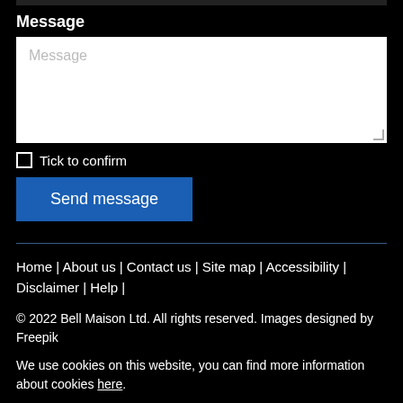Message
[Figure (screenshot): White textarea input box with placeholder text 'Message' and resize handle]
Tick to confirm
Send message
Home | About us | Contact us | Site map | Accessibility | Disclaimer | Help |
© 2022 Bell Maison Ltd. All rights reserved. Images designed by Freepik
We use cookies on this website, you can find more information about cookies here.
[Figure (logo): Three logos at the bottom: a red logo, a blue circle logo, and a gray circle logo]